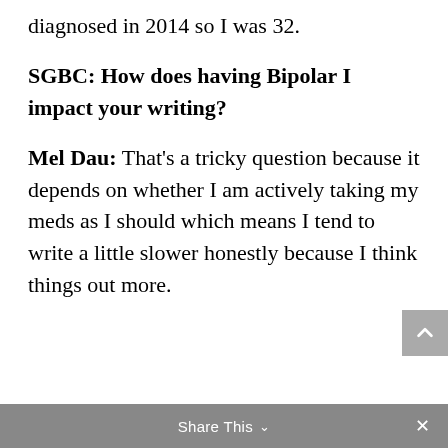diagnosed in 2014 so I was 32.
SGBC: How does having Bipolar I impact your writing?
Mel Dau: That's a tricky question because it depends on whether I am actively taking my meds as I should which means I tend to write a little slower honestly because I think things out more.
Share This ∨  ×